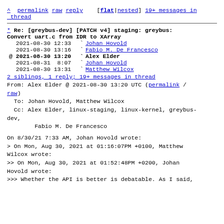^ permalink raw reply  [flat|nested] 19+ messages in thread
* Re: [greybus-dev] [PATCH v4] staging: greybus: Convert uart.c from IDR to XArray
  2021-08-30 12:33  ` Johan Hovold
  2021-08-30 13:16  ` Fabio M. De Francesco
@ 2021-08-30 13:20    ` Alex Elder
  2021-08-31  8:07    ` Johan Hovold
  2021-08-30 13:31    ` Matthew Wilcox
  2 siblings, 1 reply; 19+ messages in thread
From: Alex Elder @ 2021-08-30 13:20 UTC (permalink / raw)
  To: Johan Hovold, Matthew Wilcox
  Cc: Alex Elder, linux-staging, linux-kernel, greybus-dev,
      Fabio M. De Francesco
On 8/30/21 7:33 AM, Johan Hovold wrote:
> On Mon, Aug 30, 2021 at 01:16:07PM +0100, Matthew Wilcox wrote:
>> On Mon, Aug 30, 2021 at 01:52:48PM +0200, Johan Hovold wrote:
>>> Whether the API is better is debatable. As I said,